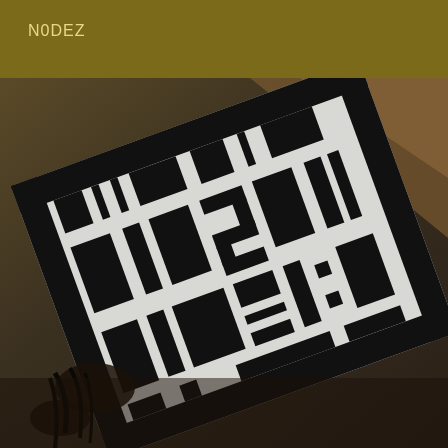N0DEZ
[Figure (photo): Close-up photo of a white sign or stencil with large bold black stencil-style characters/letters, shot at an angle. A hand or fingers are partially visible in the lower left area. The background is dark brownish-amber tones. The characters appear to be stencil lettering, possibly Arabic or stylized text, in a bold military stencil font.]